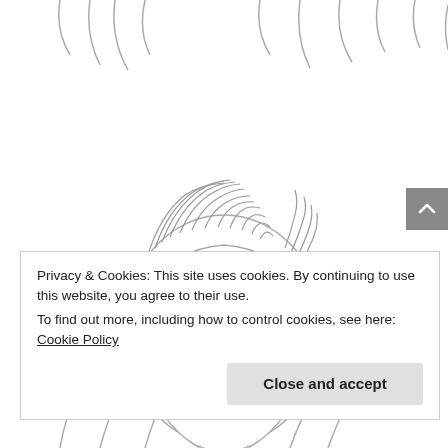[Figure (illustration): Line drawing / coloring-book style illustration of a smiling man with combed hair, visible from shoulders up. Decorative curved lines fill the background at the top and bottom edges of the image.]
Privacy & Cookies: This site uses cookies. By continuing to use this website, you agree to their use.
To find out more, including how to control cookies, see here: Cookie Policy
Close and accept